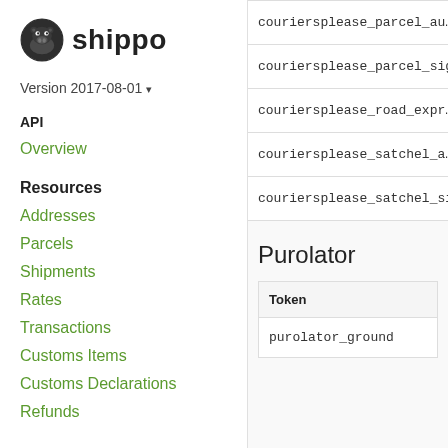[Figure (logo): Shippo hippo logo icon in dark circular badge, followed by 'shippo' wordmark]
Version 2017-08-01 ▾
API
Overview
Resources
Addresses
Parcels
Shipments
Rates
Transactions
Customs Items
Customs Declarations
Refunds
| couriersplease_parcel_au… |
| couriersplease_parcel_sig… |
| couriersplease_road_expr… |
| couriersplease_satchel_a… |
| couriersplease_satchel_si… |
Purolator
| Token |
| --- |
| purolator_ground |